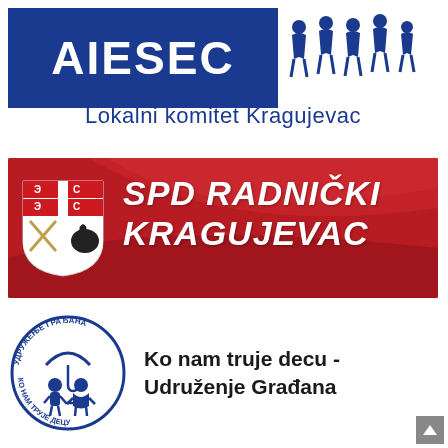[Figure (logo): AIESEC logo: blue rectangle with white 'AIESEC' text and silhouette people figures, subtitle 'Lokalni komitet Kragujevac' in blue below]
[Figure (logo): SPD Radnički Kragujevac logo: red banner with white Serbian coat of arms shield on left and bold italic white text 'SPD RADNIČKI KRAGUJEVAC']
[Figure (logo): Ko nam truje decu - Udruženje Građana: circular logo with two children figures and Cyrillic text around the circle, alongside bold text 'Ko nam truje decu - Udruženje Građana']